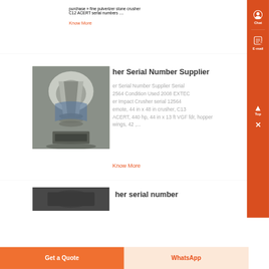purchase » fine pulverizer stone crusher C12 ACERT serial numbers ....
Know More
[Figure (photo): Close-up photo of a stone crusher machine showing metallic cone and crushing parts]
her Serial Number Supplier
er Serial Number Supplier Serial 2564 Condition Used 2008 EXTEC er Impact Crusher serial 12564 emote, 44 in x 48 in crusher, C13 ACERT, 440 hp, 44 in x 13 ft VGF fdr, hopper wings, 42 ,...
Know More
[Figure (photo): Partial photo of crusher equipment at bottom of page]
her serial number
Get a Quote
WhatsApp